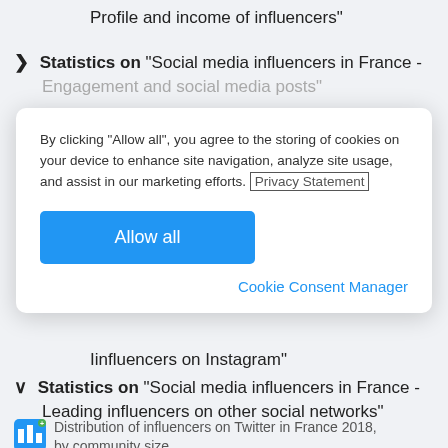Profile and income of influencers"
▶ Statistics on "Social media influencers in France - Engagement and social media posts"
[Figure (screenshot): Cookie consent modal dialog with text: 'By clicking "Allow all", you agree to the storing of cookies on your device to enhance site navigation, analyze site usage, and assist in our marketing efforts. Privacy Statement'. Contains a blue 'Allow all' button and a 'Cookie Consent Manager' link.]
Iinfluencers on Instagram"
∨ Statistics on "Social media influencers in France - Leading influencers on other social networks"
Distribution of influencers on Twitter in France 2018, by community size